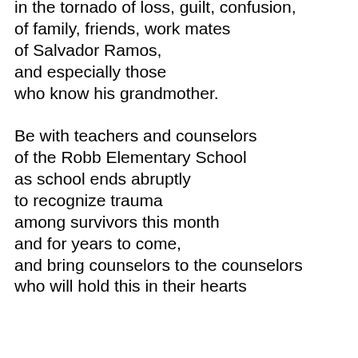in the tornado of loss, guilt, confusion,
of family, friends, work mates
of Salvador Ramos,
and especially those
who know his grandmother.

Be with teachers and counselors
of the Robb Elementary School
as school ends abruptly
to recognize trauma
among survivors this month
and for years to come,
and bring counselors to the counselors
who will hold this in their hearts